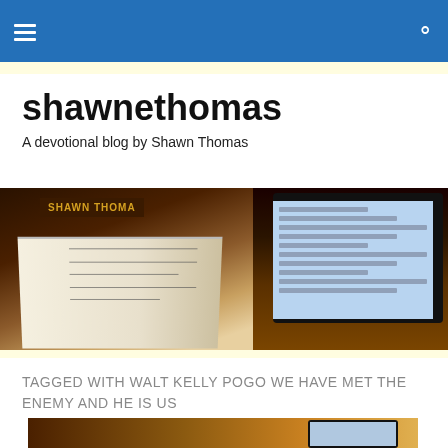[Navigation bar with hamburger menu and search icon]
shawnethomas
A devotional blog by Shawn Thomas
[Figure (photo): Photo of an open Bible and a laptop with text on screen, with a name plaque reading SHAWN THOMAS in the background]
TAGGED WITH WALT KELLY POGO WE HAVE MET THE ENEMY AND HE IS US
[Figure (photo): Partial photo showing a dimly lit room with a tablet or device on the right side]